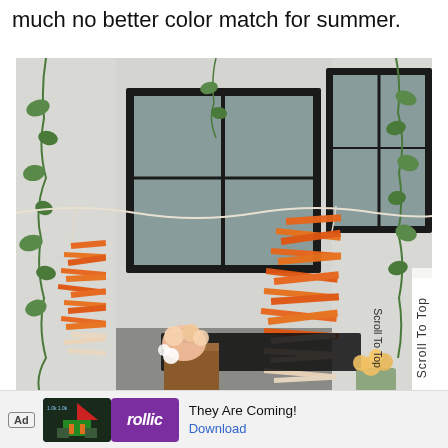much no better color match for summer.
[Figure (photo): Indoor event decoration with orange paper streamers/garlands hanging from white string, against a white brick wall with dark-framed windows and trailing green vine plants. Flowers in vases on wooden pedestals in the foreground.]
Scroll To Top
Ad  rollic  They Are Coming!  Download